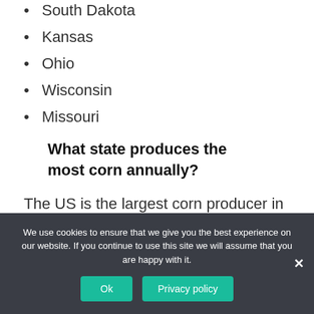South Dakota
Kansas
Ohio
Wisconsin
Missouri
What state produces the most corn annually?
The US is the largest corn producer in the world, with 96,000,000 acres (39,000,000 ha) of land reserved for corn production. Corn growth is
We use cookies to ensure that we give you the best experience on our website. If you continue to use this site we will assume that you are happy with it.